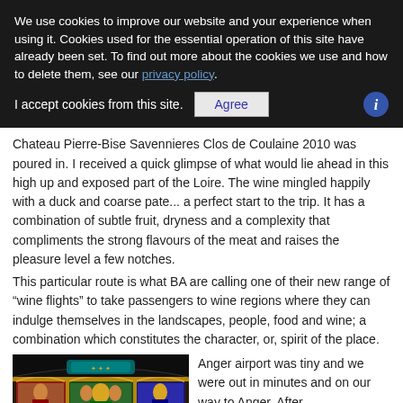We use cookies to improve our website and your experience when using it. Cookies used for the essential operation of this site have already been set. To find out more about the cookies we use and how to delete them, see our privacy policy.

I accept cookies from this site. [Agree]
Chateau Pierre-Bise Savennieres Clos de Coulaine 2010 was poured in. I received a quick glimpse of what would lie ahead in this high up and exposed part of the Loire. The wine mingled happily with a duck and coarse pate... a perfect start to the trip. It has a combination of subtle fruit, dryness and a complexity that compliments the strong flavours of the meat and raises the pleasure level a few notches.
This particular route is what BA are calling one of their new range of “wine flights” to take passengers to wine regions where they can indulge themselves in the landscapes, people, food and wine; a combination which constitutes the character, or, spirit of the place.
[Figure (photo): Ornate medieval-style painted altarpiece or fresco showing figures in colorful panels with gold decoration, dark background at top]
Anger airport was tiny and we were out in minutes and on our way to Anger. After